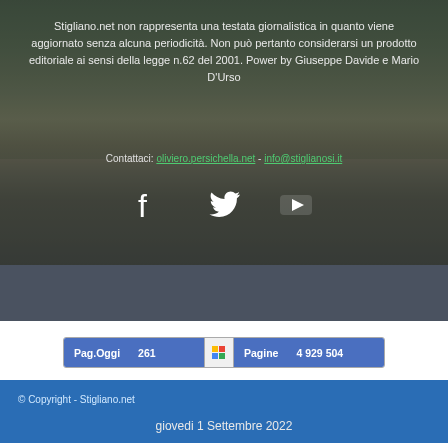Stigliano.net non rappresenta una testata giornalistica in quanto viene aggiornato senza alcuna periodicità. Non può pertanto considerarsi un prodotto editoriale ai sensi della legge n.62 del 2001. Power by Giuseppe Davide e Mario D'Urso
Contattaci: [email link] - [email link]
[Figure (illustration): Social media icons: Facebook, Twitter, YouTube]
[Figure (infographic): Stats bar showing: Pag.Oggi 261 | Pagine 4 929 504]
© Copyright - Stigliano.net
giovedi 1 Settembre 2022